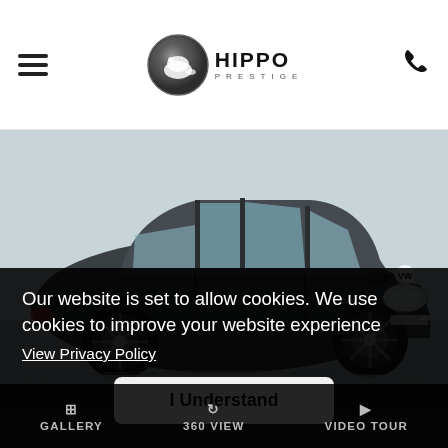Hippo Prestige logo and navigation header
[Figure (photo): Dark grey Volkswagen Polo hatchback photographed from the side in a showroom with light grey background]
Our website is set to allow cookies. We use cookies to improve your website experience
View Privacy Policy
I Understand
GALLERY   360 VIEW   VIDEO TOUR